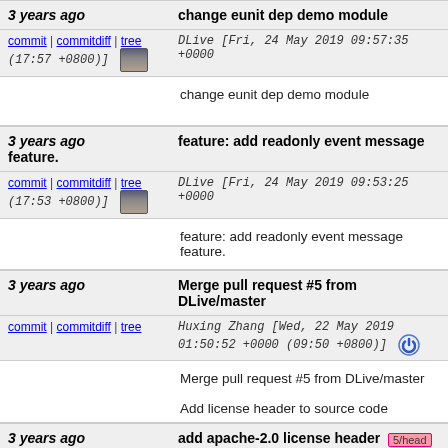3 years ago | change eunit dep demo module
commit | commitdiff | tree DLive [Fri, 24 May 2019 09:57:35 +0000 (17:57 +0800)]
change eunit dep demo module
3 years ago | feature: add readonly event message feature.
commit | commitdiff | tree DLive [Fri, 24 May 2019 09:53:25 +0000 (17:53 +0800)]
feature: add readonly event message feature.
3 years ago | Merge pull request #5 from DLive/master
commit | commitdiff | tree Huxing Zhang [Wed, 22 May 2019 01:50:52 +0000 (09:50 +0800)]
Merge pull request #5 from DLive/master
Add license header to source code
3 years ago | add apache-2.0 license header 5/head
commit | commitdiff | tree DLive [Tue, 21 May 2019 14:35:44 +0000 (22:35 +0800)]